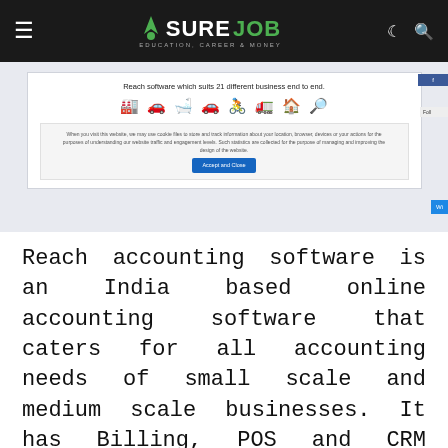SURE JOB — EDUCATION, CAREER & MONEY (navigation bar)
[Figure (screenshot): Screenshot of Reach accounting software website showing tagline 'Reach software which suits 21 different business end to end.' with business category icons and a cookie consent banner with 'Accept and Close' button.]
Reach accounting software is an India based online accounting software that caters for all accounting needs of small scale and medium scale businesses. It has Billing, POS and CRM configuration modules.
In the price of an accounting software, reach promises to help in 21 business verticals in a fully automated function. In a way, you can say that it is a full-fledged bundle for your accounting needs.